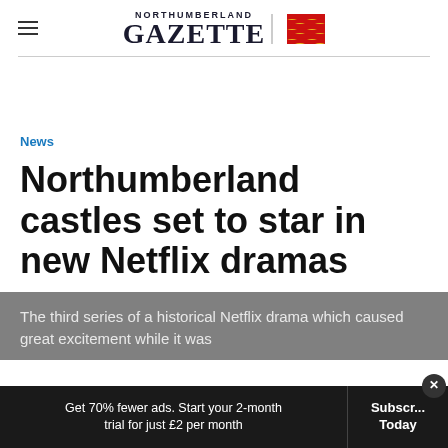NORTHUMBERLAND GAZETTE
News
Northumberland castles set to star in new Netflix dramas
The third series of a historical Netflix drama which caused great excitement while it was
Get 70% fewer ads. Start your 2-month trial for just £2 per month
Subscribe Today